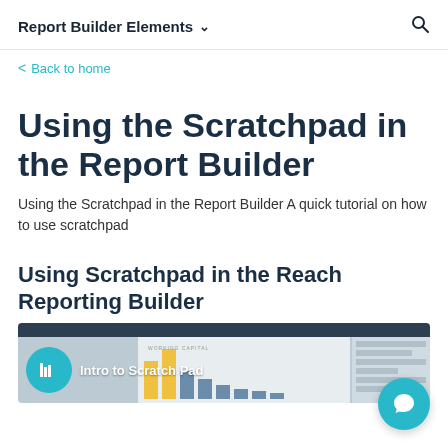Report Builder Elements
Back to home
Using the Scratchpad in the Report Builder
Using the Scratchpad in the Report Builder A quick tutorial on how to use scratchpad
Using Scratchpad in the Reach Reporting Builder
[Figure (screenshot): Video thumbnail showing 'Intro to Scratch Pad' with a chart/bar graph interface and a circular logo icon on the left]